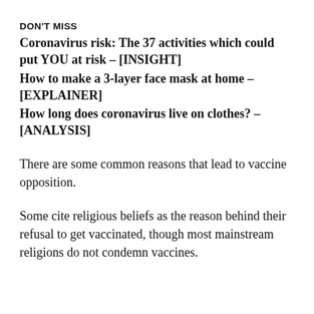DON'T MISS
Coronavirus risk: The 37 activities which could put YOU at risk – [INSIGHT]
How to make a 3-layer face mask at home – [EXPLAINER]
How long does coronavirus live on clothes? – [ANALYSIS]
There are some common reasons that lead to vaccine opposition.
Some cite religious beliefs as the reason behind their refusal to get vaccinated, though most mainstream religions do not condemn vaccines.